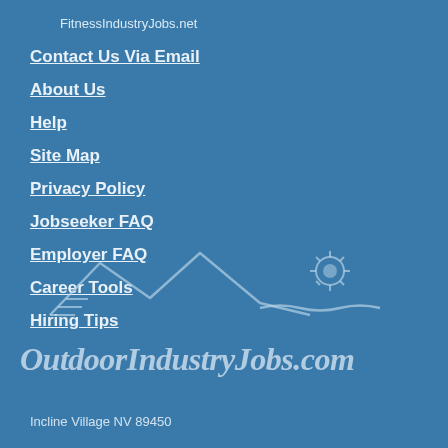FitnessIndustryJobs.net
Contact Us Via Email
About Us
Help
Site Map
Privacy Policy
Jobseeker FAQ
Employer FAQ
Career Tools
Hiring Tips
[Figure (logo): OutdoorIndustryJobs.com logo with mountain and sun silhouette graphic above the text]
Incline Village NV 89450